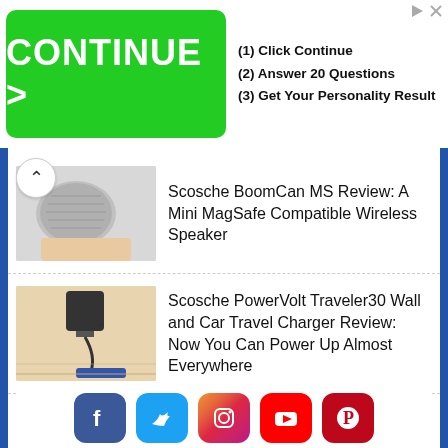[Figure (screenshot): Advertisement banner with green CONTINUE button and steps: (1) Click Continue, (2) Answer 20 Questions, (3) Get Your Personality Result]
[Figure (photo): Scosche BoomCan MS wireless speaker held in hand]
Scosche BoomCan MS Review: A Mini MagSafe Compatible Wireless Speaker
[Figure (photo): Scosche PowerVolt Traveler30 charger plugged into wall with cable on wooden floor]
Scosche PowerVolt Traveler30 Wall and Car Travel Charger Review: Now You Can Power Up Almost Everywhere
[Figure (photo): Google Pixel 6a smartphone on dark surface]
Google Pixel 6a Review: Not Too Big, Not Too Expensive; It Might Be Just Right!
[Figure (other): Social media icons row: Facebook, Twitter, Instagram, YouTube, Pinterest]